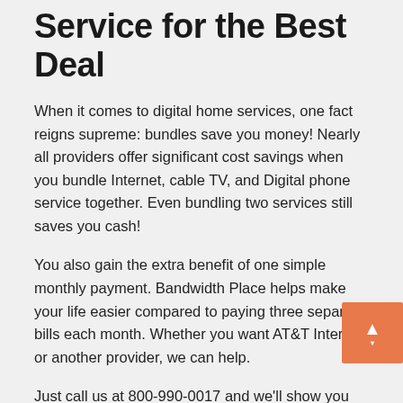Service for the Best Deal
When it comes to digital home services, one fact reigns supreme: bundles save you money! Nearly all providers offer significant cost savings when you bundle Internet, cable TV, and Digital phone service together. Even bundling two services still saves you cash!
You also gain the extra benefit of one simple monthly payment. Bandwidth Place helps make your life easier compared to paying three separate bills each month. Whether you want AT&T Internet or another provider, we can help.
Just call us at 800-990-0017 and we'll show you the top Internet, TV, and phone providers in Bellefontaine, OH. Compare the different Internet plans and bundles and decide the best double play or triple play deal for your